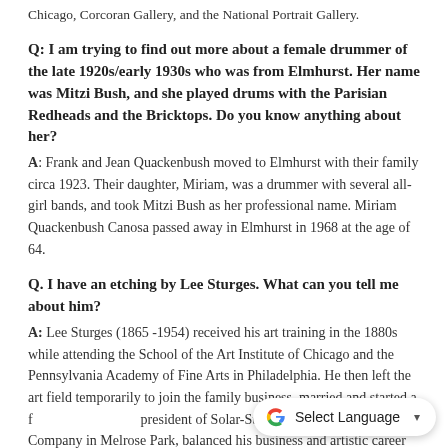Chicago, Corcoran Gallery, and the National Portrait Gallery.
Q: I am trying to find out more about a female drummer of the late 1920s/early 1930s who was from Elmhurst. Her name was Mitzi Bush, and she played drums with the Parisian Redheads and the Bricktops. Do you know anything about her?
A: Frank and Jean Quackenbush moved to Elmhurst with their family circa 1923. Their daughter, Miriam, was a drummer with several all-girl bands, and took Mitzi Bush as her professional name. Miriam Quackenbush Canosa passed away in Elmhurst in 1968 at the age of 64.
Q. I have an etching by Lee Sturges. What can you tell me about him?
A: Lee Sturges (1865 -1954) received his art training in the 1880s while attending the School of the Art Institute of Chicago and the Pennsylvania Academy of Fine Arts in Philadelphia. He then left the art field temporarily to join the family business, married and started a f... president of Solar-Sturges Manufacturing Company in Melrose Park, balanced his business and artistic career...